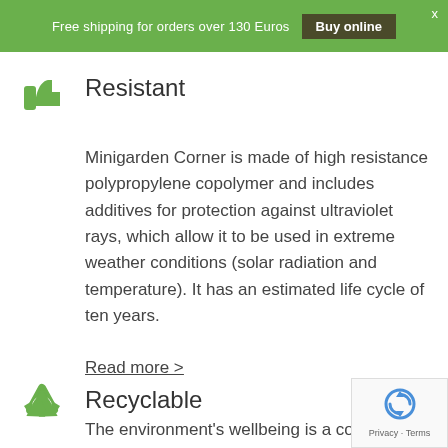Free shipping for orders over 130 Euros  Buy online
Resistant
Minigarden Corner is made of high resistance polypropylene copolymer and includes additives for protection against ultraviolet rays, which allow it to be used in extreme weather conditions (solar radiation and temperature). It has an estimated life cycle of ten years.
Read more >
Recyclable
The environment's wellbeing is a constant concern of ours, so